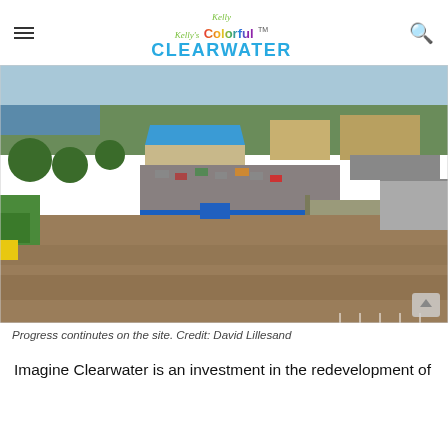Kelly Kelly's Colorful CLEARWATER
[Figure (photo): Aerial drone photo of a large cleared construction site in Clearwater, Florida. In the background, a building with a blue roof is visible along with parking lots, trees, temporary construction trailers, and the bay. The foreground shows a large graded dirt lot.]
Progress continutes on the site. Credit: David Lillesand
Imagine Clearwater is an investment in the redevelopment of